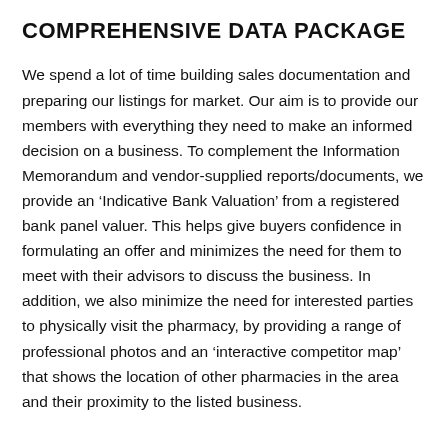COMPREHENSIVE DATA PACKAGE
We spend a lot of time building sales documentation and preparing our listings for market. Our aim is to provide our members with everything they need to make an informed decision on a business. To complement the Information Memorandum and vendor-supplied reports/documents, we provide an ‘Indicative Bank Valuation’ from a registered bank panel valuer. This helps give buyers confidence in formulating an offer and minimizes the need for them to meet with their advisors to discuss the business. In addition, we also minimize the need for interested parties to physically visit the pharmacy, by providing a range of professional photos and an ‘interactive competitor map’ that shows the location of other pharmacies in the area and their proximity to the listed business.